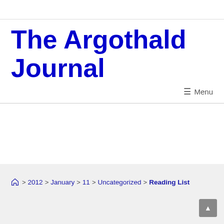The Argothald Journal
☰ Menu
🏠 > 2012 > January > 11 > Uncategorized > Reading List